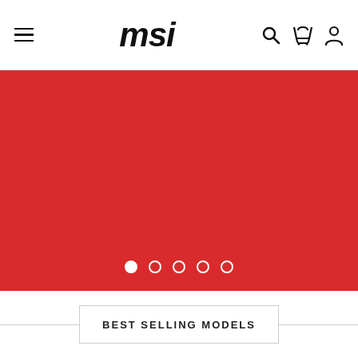MSI
[Figure (photo): Red hero banner/slider with five carousel dots at bottom, first dot active (white filled), remaining four are outlined circles]
BEST SELLING MODELS